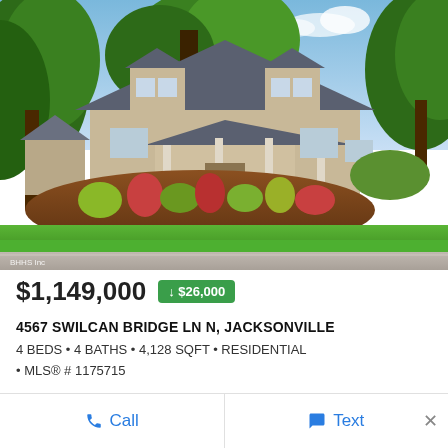[Figure (photo): Exterior photo of a residential home at 4567 Swilcan Bridge Ln N, Jacksonville. A cape cod style house with gray roof dormers, tan/beige siding, covered front porch, surrounded by lush green trees, colorful landscaping with mulch beds, and a bright green lawn in the foreground.]
$1,149,000  ↓ $26,000
4567 SWILCAN BRIDGE LN N, JACKSONVILLE
4 BEDS • 4 BATHS • 4,128 SQFT • RESIDENTIAL
• MLS® # 1175715
Call
Text